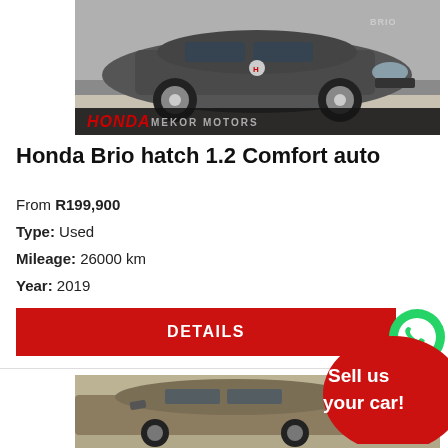[Figure (photo): Honda Brio hatch car displayed in a showroom, dark grey color, front view. Honda Mekor Motors branding visible at the bottom of the image.]
Honda Brio hatch 1.2 Comfort auto
From R199,900
Type: Used
Mileage: 26000 km
Year: 2019
DETAILS
[Figure (photo): Second car listing partially visible, bronze/gold colored hatchback in a showroom. Partially obscured by a WhatsApp Sales bubble and a red 'Sell us your car!' promotional circle.]